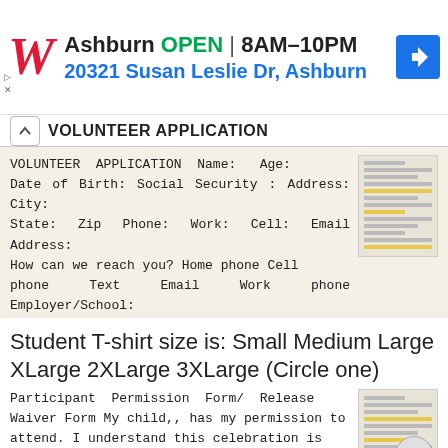[Figure (screenshot): Walgreens ad banner showing store location in Ashburn, OPEN 8AM-10PM, address 20321 Susan Leslie Dr, Ashburn, with navigation icon]
VOLUNTEER APPLICATION
VOLUNTEER APPLICATION Name: Age: Date of Birth: Social Security : Address: City: State: Zip Phone: Work: Cell: Email Address: How can we reach you? Home phone Cell phone Text Email Work phone Employer/School:
More information →
Student T-shirt size is: Small Medium Large XLarge 2XLarge 3XLarge (Circle one)
Participant Permission Form/ Release Waiver Form My child,, has my permission to attend. I understand this celebration is offered to all graduates who have signed and maintained both the Project Grad Participant